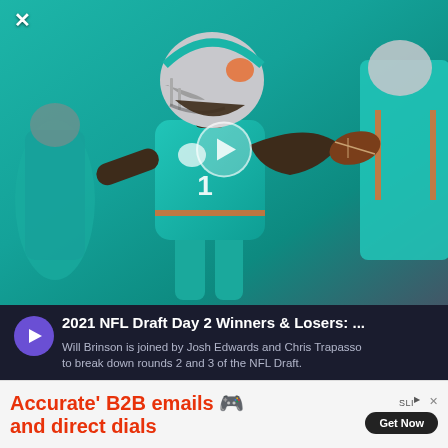[Figure (photo): Miami Dolphins quarterback wearing teal number 1 jersey and white helmet, mid-throw motion in what appears to be a warmup or game setting. Another player in teal visible in background right. Play button overlay in center of image. Close X button top left.]
2021 NFL Draft Day 2 Winners & Losers: ...
Will Brinson is joined by Josh Edwards and Chris Trapasso to break down rounds 2 and 3 of the NFL Draft.
00:12:30
[Figure (other): Audio waveform visualization in purple/gray showing sound amplitude bars across the podcast player interface]
SHARE · SUBSCRIBE · COOKIE POLICY · DESCRIPTION
[Figure (logo): Megaphone logo and branding in blue on dark background, bottom right of podcast player]
[Figure (infographic): Advertisement banner: 'Accurate' B2B emails and direct dials' with cartoon illustration of woman and dollar sign icon, SLIM logo, Get Now button]